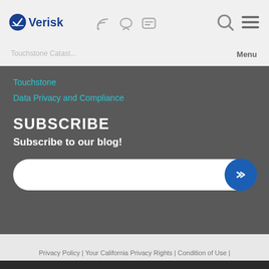Verisk [logo with navigation icons and Menu]
Touchstone
Data Privacy and Compliance
SUBSCRIBE
Subscribe to our blog!
Privacy Policy | Your California Privacy Rights | Condition of Use | Trademarks| Cookie Settings
© 2000-2022 AIR Worldwide | All rights reserved.